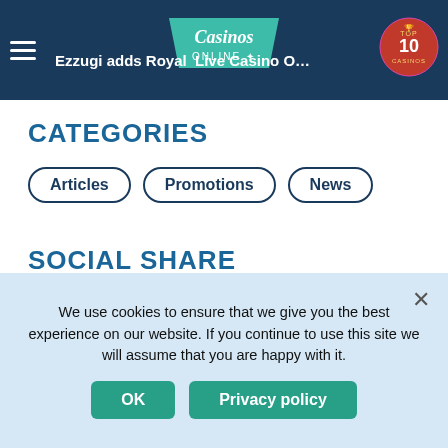Casinos Online — Ezzugi adds Royal … Live Casino O…
CATEGORIES
Articles
Promotions
News
SOCIAL SHARE
[Figure (logo): Twitter badge icon (dark blue scalloped circle with white Twitter bird)]
[Figure (logo): Facebook badge icon (dark blue scalloped circle with white Facebook 'f')]
We use cookies to ensure that we give you the best experience on our website. If you continue to use this site we will assume that you are happy with it.